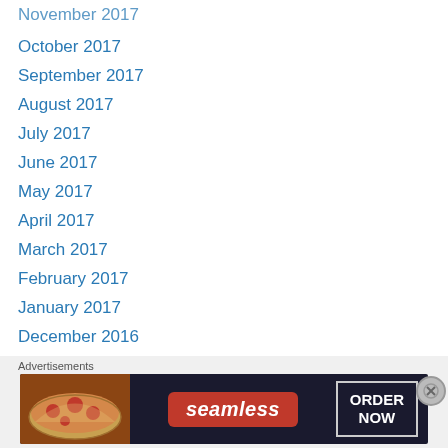November 2017
October 2017
September 2017
August 2017
July 2017
June 2017
May 2017
April 2017
March 2017
February 2017
January 2017
December 2016
November 2016
October 2016
September 2016
August 2016
July 2016
Advertisements
[Figure (other): Seamless food delivery advertisement banner with pizza image, Seamless logo, and ORDER NOW button]